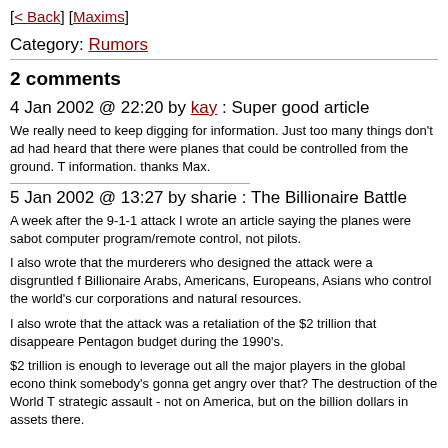[< Back] [Maxims]
Category: Rumors
2 comments
4 Jan 2002 @ 22:20 by kay : Super good article
We really need to keep digging for information. Just too many things don't add up. I had heard that there were planes that could be controlled from the ground. Thanks for the information. thanks Max.
5 Jan 2002 @ 13:27 by sharie : The Billionaire Battle
A week after the 9-1-1 attack I wrote an article saying the planes were sabotaged by computer program/remote control, not pilots.
I also wrote that the murderers who designed the attack were a disgruntled faction of Billionaire Arabs, Americans, Europeans, Asians who control the world's currencies, corporations and natural resources.
I also wrote that the attack was a retaliation of the $2 trillion that disappeared from the Pentagon budget during the 1990's.
$2 trillion is enough to leverage out all the major players in the global economy. Do you think somebody's gonna get angry over that? The destruction of the World Trade Center was a strategic assault - not on America, but on the billion dollars in assets there.